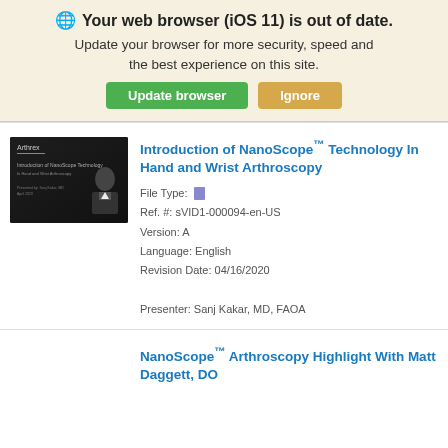🌐 Your web browser (iOS 11) is out of date. Update your browser for more security, speed and the best experience on this site. Update browser | Ignore
[Figure (screenshot): Thumbnail of NanoScope presentation slide showing a presenter in a suit against a dark background with slide title text]
Introduction of NanoScope™ Technology In Hand and Wrist Arthroscopy
File Type: [icon]
Ref. #: sVID1-000094-en-US
Version: A
Language: English
Revision Date: 04/16/2020
Presenter: Sanj Kakar, MD, FAOA
NanoScope™ Arthroscopy Highlight With Matt Daggett, DO